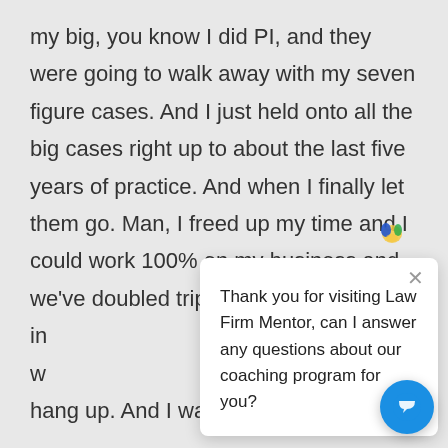my big, you know I did PI, and they were going to walk away with my seven figure cases. And I just held onto all the big cases right up to about the last five years of practice. And when I finally let them go. Man, I freed up my time and I could work 100% on my business and we've doubled tripled my income in was amazing, but it w hang up. And I was a steal my cases, you know, because it happens a lot with PI firms. I mean, you see a big firm, you know you got an associate working on a big case
Thank you for visiting Law Firm Mentor, can I answer any questions about our coaching program for you?